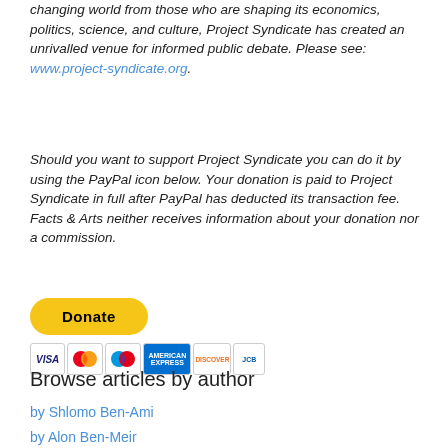changing world from those who are shaping its economics, politics, science, and culture, Project Syndicate has created an unrivalled venue for informed public debate. Please see: www.project-syndicate.org.
Should you want to support Project Syndicate you can do it by using the PayPal icon below. Your donation is paid to Project Syndicate in full after PayPal has deducted its transaction fee. Facts & Arts neither receives information about your donation nor a commission.
[Figure (other): PayPal Donate button and credit card icons (VISA, Mastercard, Maestro, American Express, Discover, JCB)]
Browse articles by author
by Shlomo Ben-Ami
by Alon Ben-Meir